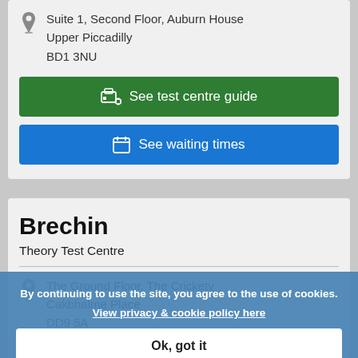Suite 1, Second Floor, Auburn House
Upper Piccadilly
BD1 3NU
See test centre guide
See waiting times
Brechin
Theory Test Centre
The Ground Floor, The Crickety
Cakbhalme Place
DD9 5A
By continuing to use the site, you agree to the use of cookies.
View privacy & cookie policy here
Ok, got it